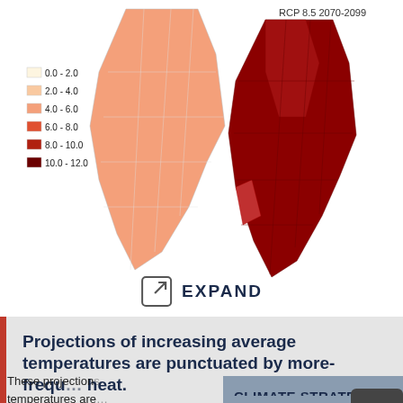[Figure (map): Two maps of Nevada showing temperature change projections. Left map shows current/near-term projections with light orange shading (4.0-6.0 range). Right map labeled 'RCP 8.5 2070-2099' shows deep red/dark red shading indicating 10.0-12.0 temperature increase. Legend shows color scale from 0.0-2.0 (pale yellow) to 10.0-12.0 (dark red/maroon).]
EXPAND
Projections of increasing average temperatures are punctuated by more-frequently occurring extreme heat.
These projections... temperatures are...
[Figure (screenshot): Climate Strategy overlay panel with title 'CLIMATE STRATEGY', a 'Print this Page' button in orange, and 'POLICY SECTION MENU' dropdown]
CLIMATE STRATEGY
Print this Page
POLICY SECTION MENU